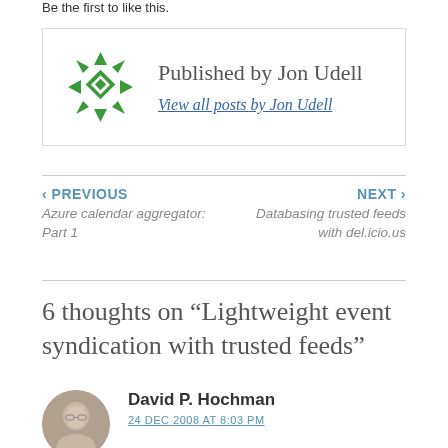Be the first to like this.
Published by Jon Udell
View all posts by Jon Udell
‹ PREVIOUS
Azure calendar aggregator: Part 1
NEXT ›
Databasing trusted feeds with del.icio.us
6 thoughts on “Lightweight event syndication with trusted feeds”
David P. Hochman
24 DEC 2008 AT 8:03 PM